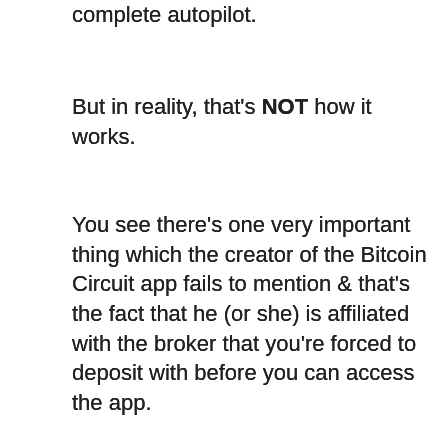complete autopilot.
But in reality, that's NOT how it works.
You see there's one very important thing which the creator of the Bitcoin Circuit app fails to mention & that's the fact that he (or she) is affiliated with the broker that you're forced to deposit with before you can access the app.
This means that when you sign up & deposit (which I don't recommend doing), the creator of Bitcoin Circuit will get paid a commission at your expense.
The creator of the app also fails to